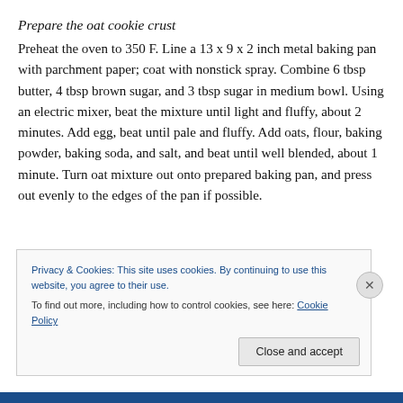Prepare the oat cookie crust
Preheat the oven to 350 F. Line a 13 x 9 x 2 inch metal baking pan with parchment paper; coat with nonstick spray. Combine 6 tbsp butter, 4 tbsp brown sugar, and 3 tbsp sugar in medium bowl. Using an electric mixer, beat the mixture until light and fluffy, about 2 minutes. Add egg, beat until pale and fluffy. Add oats, flour, baking powder, baking soda, and salt, and beat until well blended, about 1 minute. Turn oat mixture out onto prepared baking pan, and press out evenly to the edges of the pan if possible.
Privacy & Cookies: This site uses cookies. By continuing to use this website, you agree to their use.
To find out more, including how to control cookies, see here: Cookie Policy
Close and accept